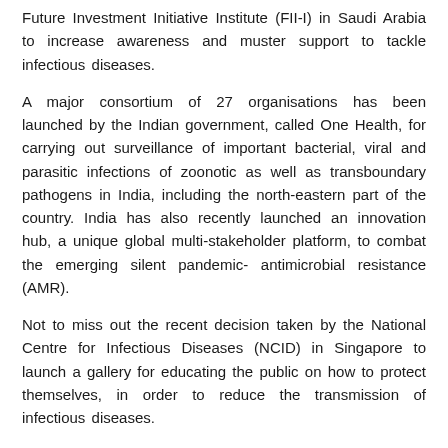Future Investment Initiative Institute (FII-I) in Saudi Arabia to increase awareness and muster support to tackle infectious diseases.
A major consortium of 27 organisations has been launched by the Indian government, called One Health, for carrying out surveillance of important bacterial, viral and parasitic infections of zoonotic as well as transboundary pathogens in India, including the north-eastern part of the country. India has also recently launched an innovation hub, a unique global multi-stakeholder platform, to combat the emerging silent pandemic- antimicrobial resistance (AMR).
Not to miss out the recent decision taken by the National Centre for Infectious Diseases (NCID) in Singapore to launch a gallery for educating the public on how to protect themselves, in order to reduce the transmission of infectious diseases.
Multiple steps are being executed by experts across the APAC region after taking lessons from COVID-19. The permanent threat of emerging pathogens has indeed called for vigilance, surveillance and preparedness for epidemiologists, scientists, developers, human and veterinary health authorities, regulators and other stakeholders.
As 2021 comes to an end, let's take a look at the key developments across the diagnostic, medtech, pharma, services, suppliers, and